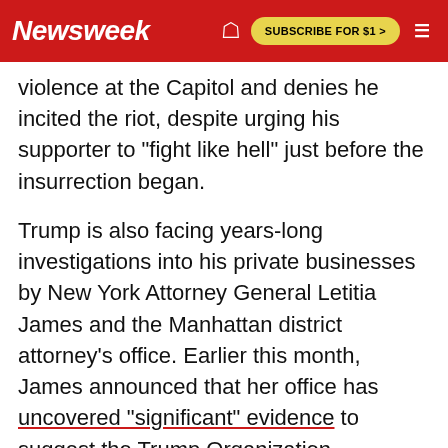Newsweek | SUBSCRIBE FOR $1 >
violence at the Capitol and denies he incited the riot, despite urging his supporter to "fight like hell" just before the insurrection began.
Trump is also facing years-long investigations into his private businesses by New York Attorney General Letitia James and the Manhattan district attorney's office. Earlier this month, James announced that her office has uncovered "significant" evidence to suggest the Trump Organization committed fraud.
NEWSWEEK SUBSCRIPTION OFFERS >